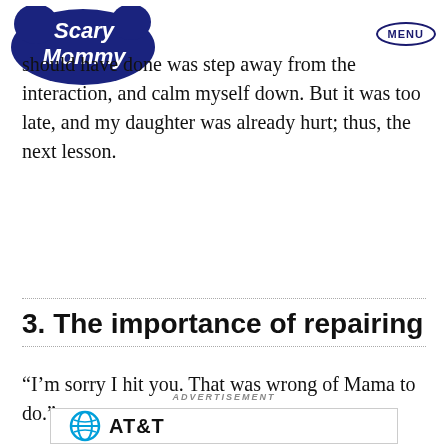Scary Mommy | MENU
should have done was step away from the interaction, and calm myself down. But it was too late, and my daughter was already hurt; thus, the next lesson.
3. The importance of repairing
“I’m sorry I hit you. That was wrong of Mama to do.”
ADVERTISEMENT
[Figure (logo): AT&T logo with globe icon]